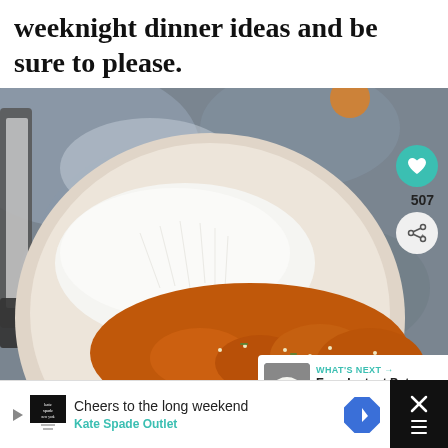weeknight dinner ideas and be sure to please.
[Figure (photo): Overhead close-up photo of a ceramic bowl containing white rice and glazed chicken pieces with sesame seeds and green onions, on a dark marble surface with a knife visible]
WHAT'S NEXT → Easy Instant Pot Chicken...
Cheers to the long weekend
Kate Spade Outlet